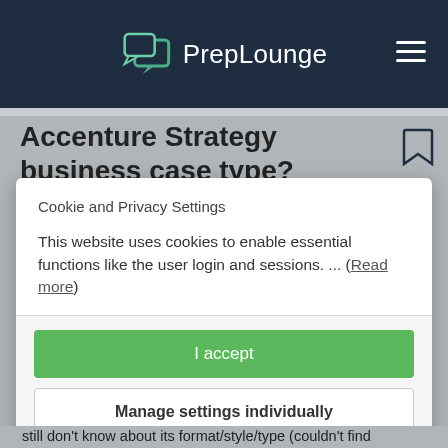PrepLounge
Accenture Strategy business case type?
Cookie and Privacy Settings
This website uses cookies to enable essential functions like the user login and sessions. ... (Read more)
I accept
Manage settings individually
still don't know about its format/style/type (couldn't find